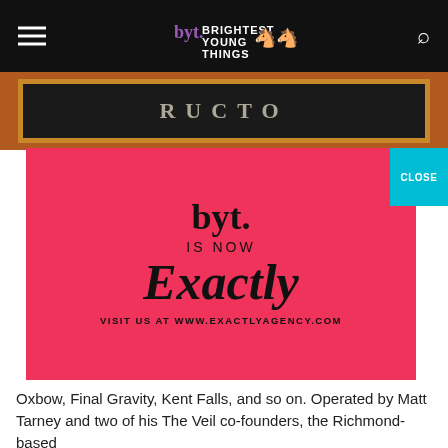byt. BRIGHTEST YOUNG THINGS
[Figure (photo): Chalkboard sign with chalked text in a wooden frame, set against an orange/brown background]
[Figure (infographic): Pink/hot-red advertisement overlay reading: byt. IS NOW Exactly VISIT US AT WWW.EXACTLYAGENCY.COM, with a teal CLOSE button in the top right corner]
Oxbow, Final Gravity, Kent Falls, and so on. Operated by Matt Tarney and two of his The Veil co-founders, the Richmond-based